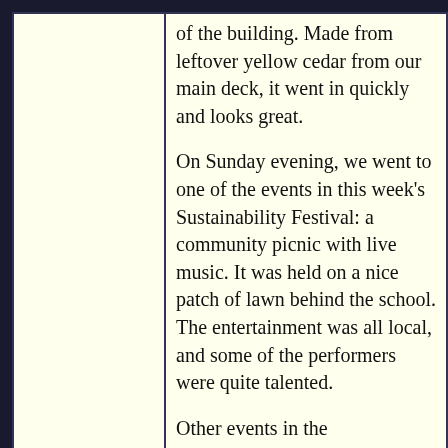of the building. Made from leftover yellow cedar from our main deck, it went in quickly and looks great.

On Sunday evening, we went to one of the events in this week's Sustainability Festival: a community picnic with live music. It was held on a nice patch of lawn behind the school. The entertainment was all local, and some of the performers were quite talented.

Other events in the Sustainability Festival have focused on self-sufficiency skills such as making cordage and scything.

Larkin looks cute all the time, but she is especially beautiful when she is alert, searching for the source of some forest sound, like she was on today's walk.
17-Jun-2012
The weather this week has been pretty much the same as the last few weeks: some sun, some rain, lots of cloud, and temperatures that fail to impress. Summer starts on